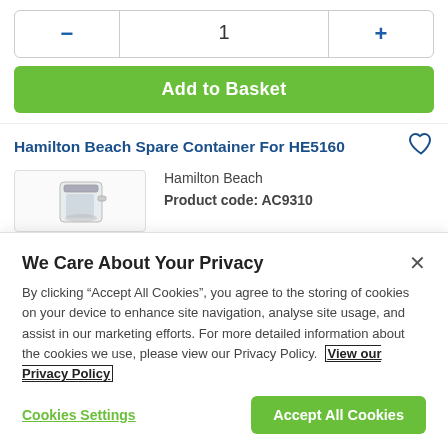- | 1 | +
Add to Basket
Hamilton Beach Spare Container For HE5160
Hamilton Beach
Product code: AC9310
[Figure (photo): Small blender container/jar image]
We Care About Your Privacy
By clicking “Accept All Cookies”, you agree to the storing of cookies on your device to enhance site navigation, analyse site usage, and assist in our marketing efforts. For more detailed information about the cookies we use, please view our Privacy Policy. View our Privacy Policy
Cookies Settings
Accept All Cookies